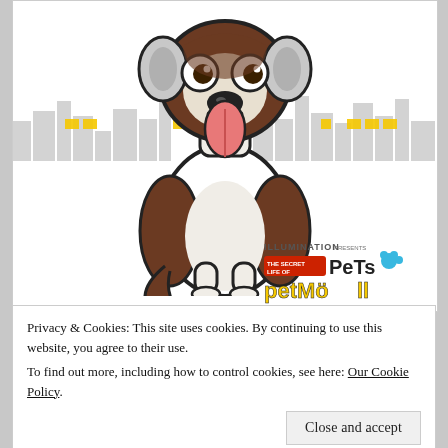[Figure (illustration): Cartoon animated dog character (brown and white, sitting with tongue out) from The Secret Life of Pets, set against a city skyline background with yellow building windows. Bottom right shows the Illumination Presents: The Secret Life of Pets logo.]
Privacy & Cookies: This site uses cookies. By continuing to use this website, you agree to their use.
To find out more, including how to control cookies, see here: Our Cookie Policy
Close and accept
[Figure (photo): Partial photo strip at the bottom of the page, appears to show dogs or pets outdoors.]